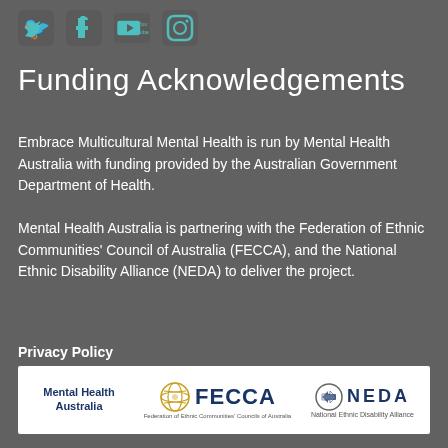[Figure (other): Social media icons row: Twitter, Facebook, YouTube, Instagram — teal/cyan colored icons on dark grey background]
Funding Acknowledgements
Embrace Multicultural Mental Health is run by Mental Health Australia with funding provided by the Australian Government Department of Health.
Mental Health Australia is partnering with the Federation of Ethnic Communities' Council of Australia (FECCA), and the National Ethnic Disability Alliance (NEDA) to deliver the project.
Privacy Policy
[Figure (logo): Logo bar with white background showing three logos side by side: Mental Health Australia, FECCA (Federation of Ethnic Communities' Councils of Australia), and NEDA (National Ethnic Disability Alliance)]